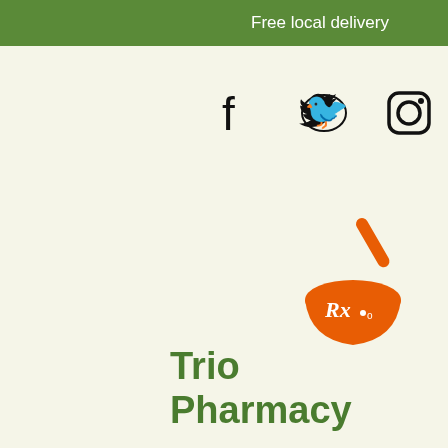Free local delivery
and
ir MMR
[Figure (logo): Social media icons: Facebook, Twitter, Instagram]
[Figure (logo): Trio Pharmacy mortar and pestle logo in orange]
Trio Pharmacy
ive.
7%
se is
[Figure (screenshot): Search bar with magnifying glass icon, shopping bag with 0, and hamburger menu]
hich
ella,
e is only
nonths
through 12 years of age.
Source:
https://www.cdc.gov/vaccines/vpd/measles/index.html
[Figure (illustration): Green circle with three white dots (chat/more options bubble)]
Contact Details